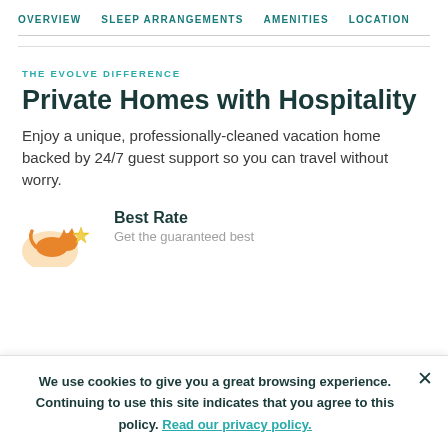OVERVIEW   SLEEP ARRANGEMENTS   AMENITIES   LOCATION
THE EVOLVE DIFFERENCE
Private Homes with Hospitality
Enjoy a unique, professionally-cleaned vacation home backed by 24/7 guest support so you can travel without worry.
Best Rate
Get the guaranteed best
We use cookies to give you a great browsing experience. Continuing to use this site indicates that you agree to this policy. Read our privacy policy.